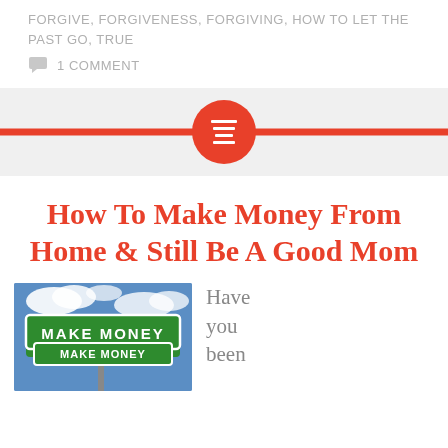FORGIVE, FORGIVENESS, FORGIVING, HOW TO LET THE PAST GO, TRUE
1 COMMENT
[Figure (other): Red horizontal bar with centered red circle containing a white menu/hamburger icon, on a light gray background]
How To Make Money From Home & Still Be A Good Mom
[Figure (photo): Street sign reading MAKE MONEY against a blue sky with clouds]
Have you been